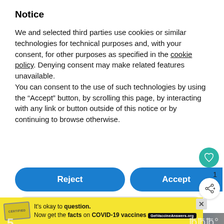Notice
We and selected third parties use cookies or similar technologies for technical purposes and, with your consent, for other purposes as specified in the cookie policy. Denying consent may make related features unavailable.
You can consent to the use of such technologies by using the “Accept” button, by scrolling this page, by interacting with any link or button outside of this notice or by continuing to browse otherwise.
[Figure (screenshot): Blue Reject button and blue Accept button side by side, with teal heart icon button and share icon on the right side]
[Figure (screenshot): Gray Learn more and customize button]
[Figure (screenshot): WHAT'S NEXT arrow, Best Time to Travel to... with thumbnail photo]
[Figure (photo): Dark blue/grey photo strip at the bottom of the page]
[Figure (screenshot): Yellow advertisement bar: It's okay to question. Now get the facts on COVID-19 vaccines. GetVaccineAnswers.org]